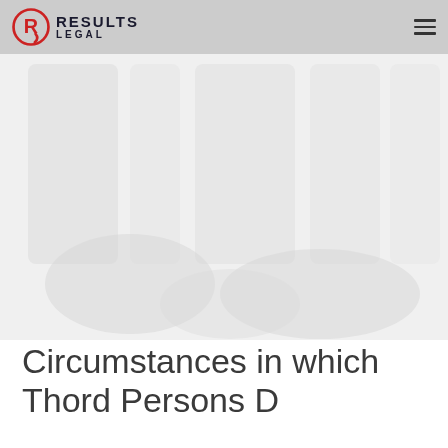RESULTS LEGAL
[Figure (photo): Faded background hero image showing people in a legal/business setting, largely washed out in light grey tones]
Circumstances in which Thord Persons D...